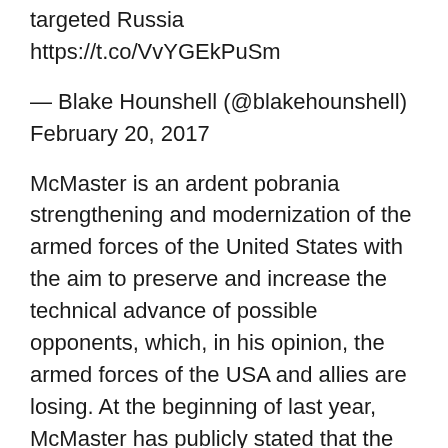targeted Russia https://t.co/VvYGEkPuSm
— Blake Hounshell (@blakehounshell) February 20, 2017
McMaster is an ardent pobrania strengthening and modernization of the armed forces of the United States with the aim to preserve and increase the technical advance of possible opponents, which, in his opinion, the armed forces of the USA and allies are losing. At the beginning of last year, McMaster has publicly stated that the US and its allies dangerously reduced their military power.
McMaster, among other things, stated that the US army in its current state is not ready to face the challenges is Russian artillery, given how the latter manifested itself in the East of Ukraine.
He also the...